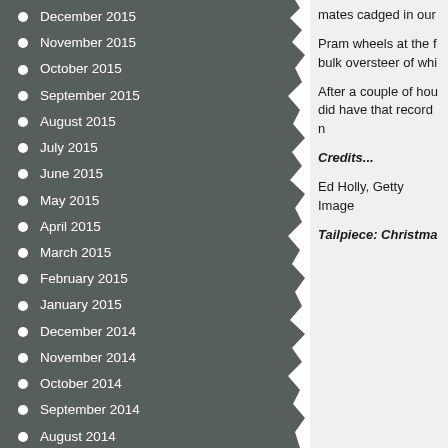December 2015
November 2015
October 2015
September 2015
August 2015
July 2015
June 2015
May 2015
April 2015
March 2015
February 2015
January 2015
December 2014
November 2014
October 2014
September 2014
August 2014
July 2014
June 2014
May 2014
mates cadged in our
Pram wheels at the f bulk oversteer of whi
After a couple of hou did have that record n
Credits...
Ed Holly, Getty Image
Tailpiece: Christma